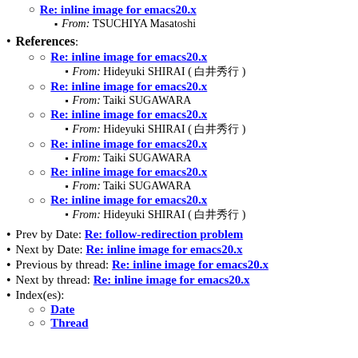Re: inline image for emacs20.x — From: TSUCHIYA Masatoshi
References:
Re: inline image for emacs20.x — From: Hideyuki SHIRAI ( 白井秀行 )
Re: inline image for emacs20.x — From: Taiki SUGAWARA
Re: inline image for emacs20.x — From: Hideyuki SHIRAI ( 白井秀行 )
Re: inline image for emacs20.x — From: Taiki SUGAWARA
Re: inline image for emacs20.x — From: Taiki SUGAWARA
Re: inline image for emacs20.x — From: Hideyuki SHIRAI ( 白井秀行 )
Prev by Date: Re: follow-redirection problem
Next by Date: Re: inline image for emacs20.x
Previous by thread: Re: inline image for emacs20.x
Next by thread: Re: inline image for emacs20.x
Index(es): Date, Thread